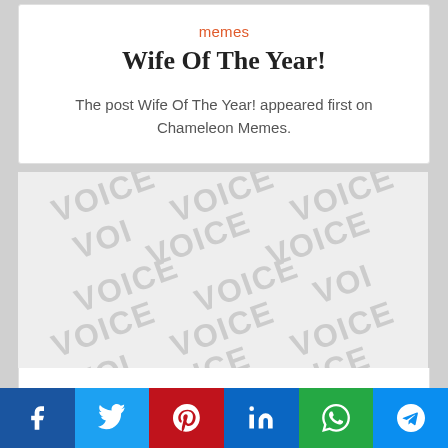memes
Wife Of The Year!
The post Wife Of The Year! appeared first on Chameleon Memes.
[Figure (other): Watermark background with repeating 'VOICE' text in light gray on a gray background]
memes